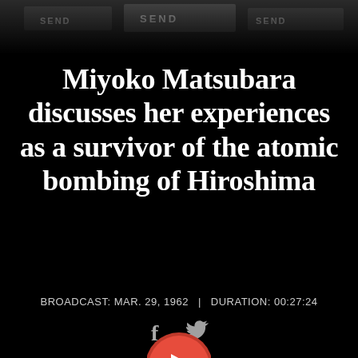[Figure (photo): Black and white photograph strip at top showing protest signs/banners, partially visible.]
Miyoko Matsubara discusses her experiences as a survivor of the atomic bombing of Hiroshima
BROADCAST: Mar. 29, 1962  |  DURATION: 00:27:24
[Figure (other): Social media icons: Facebook (f) and Twitter bird icons]
[Figure (other): Partial red and white play button icon at bottom center]